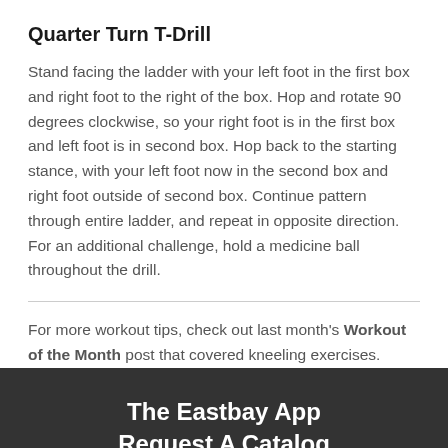Quarter Turn T-Drill
Stand facing the ladder with your left foot in the first box and right foot to the right of the box. Hop and rotate 90 degrees clockwise, so your right foot is in the first box and left foot is in second box. Hop back to the starting stance, with your left foot now in the second box and right foot outside of second box. Continue pattern through entire ladder, and repeat in opposite direction. For an additional challenge, hold a medicine ball throughout the drill.
For more workout tips, check out last month's Workout of the Month post that covered kneeling exercises.
The Eastbay App
Request A Catalog